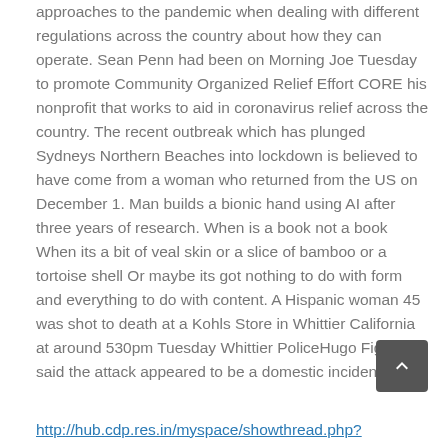approaches to the pandemic when dealing with different regulations across the country about how they can operate. Sean Penn had been on Morning Joe Tuesday to promote Community Organized Relief Effort CORE his nonprofit that works to aid in coronavirus relief across the country. The recent outbreak which has plunged Sydneys Northern Beaches into lockdown is believed to have come from a woman who returned from the US on December 1. Man builds a bionic hand using AI after three years of research. When is a book not a book When its a bit of veal skin or a slice of bamboo or a tortoise shell Or maybe its got nothing to do with form and everything to do with content. A Hispanic woman 45 was shot to death at a Kohls Store in Whittier California at around 530pm Tuesday Whittier PoliceHugo Figueroa said the attack appeared to be a domestic incident.
http://hub.cdp.res.in/myspace/showthread.php?